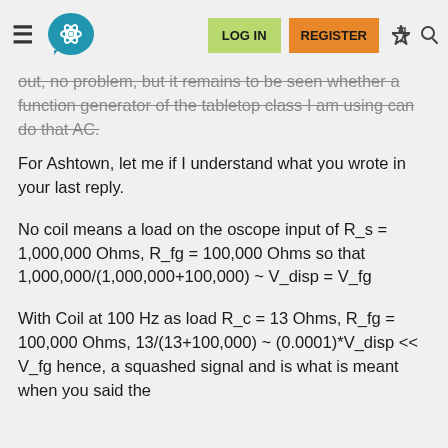LOG IN | REGISTER
out, no problem, but it remains to be seen whether a function generator of the tabletop class I am using can do that AC.
For Ashtown, let me if I understand what you wrote in your last reply.
No coil means a load on the oscope input of R_s = 1,000,000 Ohms, R_fg = 100,000 Ohms so that 1,000,000/(1,000,000+100,000) ~ V_disp = V_fg
With Coil at 100 Hz as load R_c = 13 Ohms, R_fg = 100,000 Ohms, 13/(13+100,000) ~ (0.0001)*V_disp << V_fg hence, a squashed signal and is what is meant when you said the